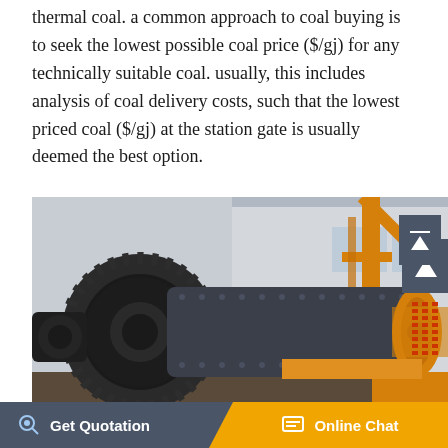thermal coal. a common approach to coal buying is to seek the lowest possible coal price ($/gj) for any technically suitable coal. usually, this includes analysis of coal delivery costs, such that the lowest priced coal ($/gj) at the station gate is usually deemed the best option.
[Figure (photo): Industrial ball mill machinery with large black gear wheel on the left and orange cylindrical drum on the right, photographed outdoors in front of a building with orange crane structures visible in the background.]
Get Quotation    Online Chat